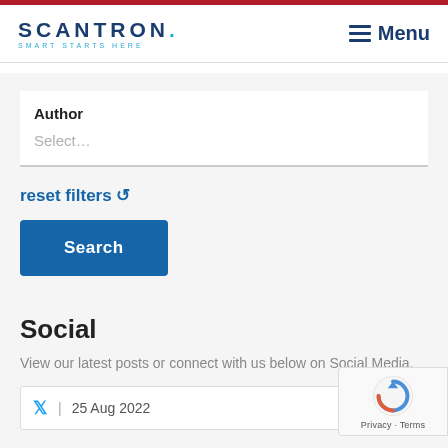SCANTRON. SMART STARTS HERE — Menu
Author
Select...
reset filters ↺
Search
Social
View our latest posts or connect with us below on Social Media.
🐦 | 25 Aug 2022